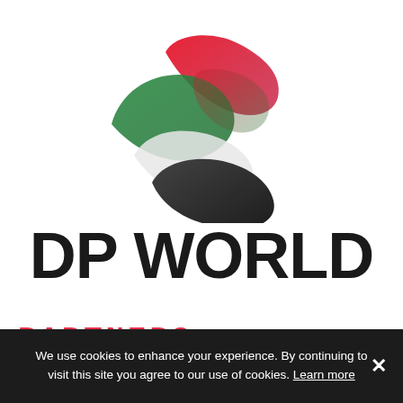[Figure (logo): DP World logo: a globe-like swoosh design with red, green, white, and dark grey/black curved bands forming an abstract sphere shape]
DP WORLD
PARTNERS
We use cookies to enhance your experience. By continuing to visit this site you agree to our use of cookies. Learn more ×